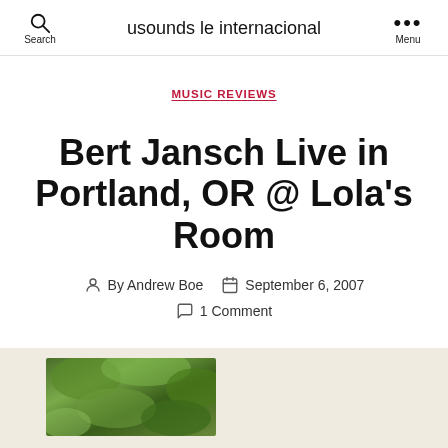usounds le internacional
MUSIC REVIEWS
Bert Jansch Live in Portland, OR @ Lola's Room
By Andrew Boe  September 6, 2007
1 Comment
[Figure (photo): Partial photo visible at bottom of page showing green foliage/nature scene]